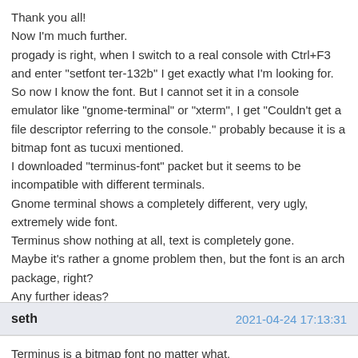Thank you all!
Now I'm much further.
progady is right, when I switch to a real console with Ctrl+F3 and enter "setfont ter-132b" I get exactly what I'm looking for.
So now I know the font. But I cannot set it in a console emulator like "gnome-terminal" or "xterm", I get "Couldn't get a file descriptor referring to the console." probably because it is a bitmap font as tucuxi mentioned.
I downloaded "terminus-font" packet but it seems to be incompatible with different terminals.
Gnome terminal shows a completely different, very ugly, extremely wide font.
Terminus show nothing at all, text is completely gone.

Maybe it's rather a gnome problem then, but the font is an arch package, right?

Any further ideas?

Thanks so far!
seth — 2021-04-24 17:13:31
Terminus is a bitmap font no matter what.